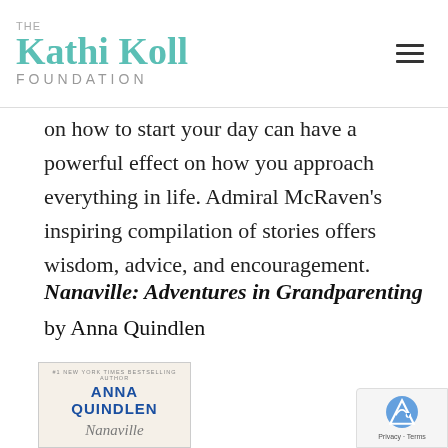THE Kathi Koll FOUNDATION
on how to start your day can have a powerful effect on how you approach everything in life. Admiral McRaven's inspiring compilation of stories offers wisdom, advice, and encouragement.
Nanaville: Adventures in Grandparenting
by Anna Quindlen
[Figure (photo): Book cover of Nanaville by Anna Quindlen, showing the author name in blue bold letters and the title in script, on a cream background. Subtitle reads '#1 New York Times Bestselling Author'.]